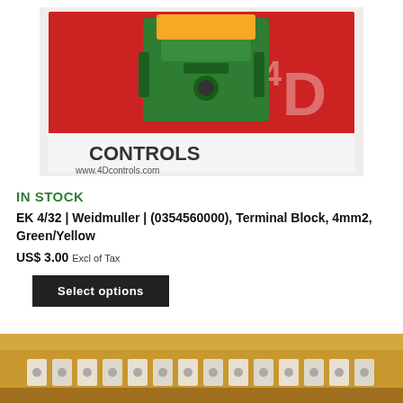[Figure (photo): Green and yellow terminal block on a red background with '4D CONTROLS' branding and 'www.4Dcontrols.com' text]
IN STOCK
EK 4/32 | Weidmuller | (0354560000), Terminal Block, 4mm2, Green/Yellow
US$ 3.00 Excl of Tax
Select options
[Figure (photo): Cardboard box containing terminal blocks, viewed from above]